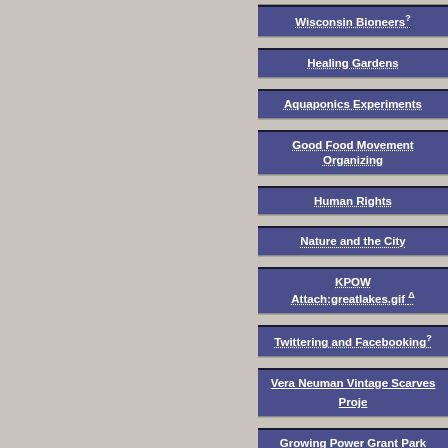Wisconsin Bioneers?
Healing Gardens
Aquaponics Experiments
Good Food Movement Organizing
Human Rights
Nature and the City
KPOW
Attach:greatlakes.gif Δ
Twittering and Facebooking?
Vera Neuman Vintage Scarves Project
Growing Power Grant Park Harvest Celebration
The Milwaukee Troupe of Soap Box Orators